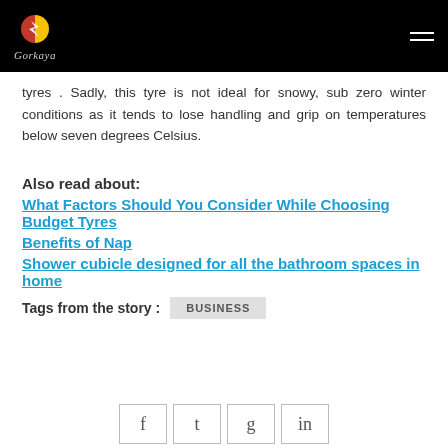Gorkaya logo and navigation
tyres . Sadly, this tyre is not ideal for snowy, sub zero winter conditions as it tends to lose handling and grip on temperatures below seven degrees Celsius.
Also read about:
What Factors Should You Consider While Choosing Budget Tyres
Benefits of Nap
Shower cubicle designed for all the bathroom spaces in home
Tags from the story : BUSINESS